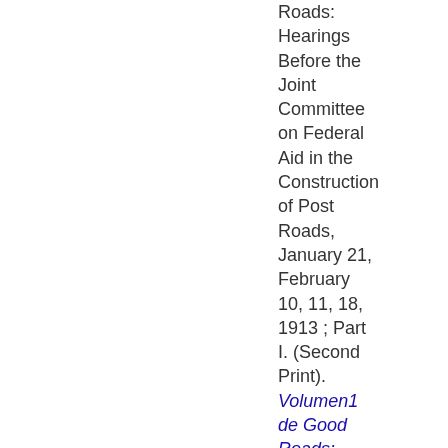Roads: Hearings Before the Joint Committee on Federal Aid in the Construction of Post Roads, January 21, February 10, 11, 18, 1913 ; Part I. (Second Print).
Volumen1 de Good Roads: Hearings Before the Joint Committee on Federal